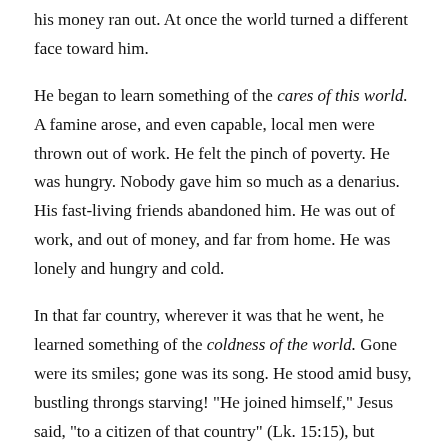his money ran out. At once the world turned a different face toward him.
He began to learn something of the cares of this world. A famine arose, and even capable, local men were thrown out of work. He felt the pinch of poverty. He was hungry. Nobody gave him so much as a denarius. His fast-living friends abandoned him. He was out of work, and out of money, and far from home. He was lonely and hungry and cold.
In that far country, wherever it was that he went, he learned something of the coldness of the world. Gone were its smiles; gone was its song. He stood amid busy, bustling throngs starving! "He joined himself," Jesus said, "to a citizen of that country" (Lk. 15:15), but starvation wages were all he could earn. And what a job it was! He was hired out to a citizen of that country to feed swine.